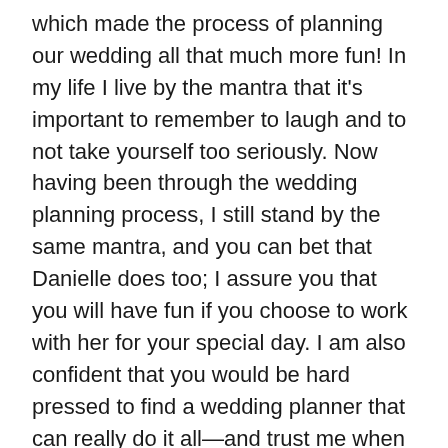which made the process of planning our wedding all that much more fun! In my life I live by the mantra that it's important to remember to laugh and to not take yourself too seriously. Now having been through the wedding planning process, I still stand by the same mantra, and you can bet that Danielle does too; I assure you that you will have fun if you choose to work with her for your special day. I am also confident that you would be hard pressed to find a wedding planner that can really do it all—and trust me when I say that there is no limit to what Danielle is capable of. She is a force to be reckoned with, and any bride would be lucky to have her by her side to plan the wedding of her dreams. Thank you Danielle for everything that you did for Tommy and me, we are eternally grateful to you and are so happy that we found you!